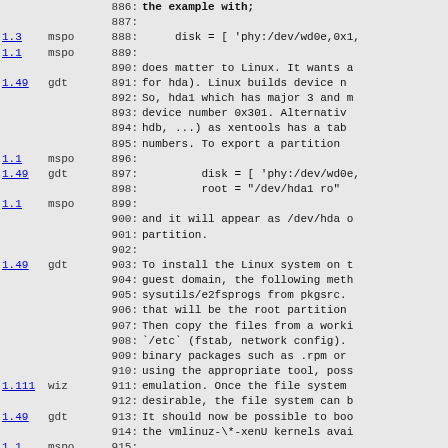Code listing with version annotations, lines 887-916
886: the example with;
887:
1.3 mspo 888:      disk = [ 'phy:/dev/wd0e,0x1,
1.1 mspo 889:
890: does matter to Linux. It wants a
1.49 gdt 891: for hda). Linux builds device n
892: So, hda1 which has major 3 and m
893: device number 0x301. Alternativ
894: hdb, ...) as xentools has a tab
895: numbers. To export a partition
1.1 mspo 896:
1.49 gdt 897:      disk = [ 'phy:/dev/wd0e,
898:           root = "/dev/hda1 ro"
1.1 mspo 899:
900: and it will appear as /dev/hda o
901: partition.
902:
1.49 gdt 903: To install the Linux system on t
904: guest domain, the following meth
905: sysutils/e2fsprogs from pkgsrc.
906: that will be the root partition
907: Then copy the files from a worki
908: `/etc` (fstab, network config).
909: binary packages such as .rpm or
910: using the appropriate tool, poss
1.111 wiz 911: emulation. Once the file system
912: desirable, the file system can b
1.49 gdt 913: It should now be possible to boo
914: the vmlinuz-\*-xenU kernels avai
1.1 mspo 915:
1.111 wiz 916: To get the Linux console right